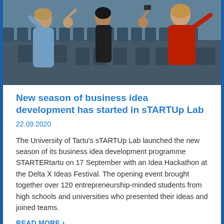[Figure (photo): Group of young people in an auditorium raising glasses in a toast, with a woman in a red jacket prominent on the right side.]
New season of business idea development has started in sTARTUp Lab
22.09.2020
The University of Tartu's sTARTUp Lab launched the new season of its business idea development programme STARTERtartu on 17 September with an Idea Hackathon at the Delta X Ideas Festival. The opening event brought together over 120 entrepreneurship-minded students from high schools and universities who presented their ideas and joined teams.
READ MORE >